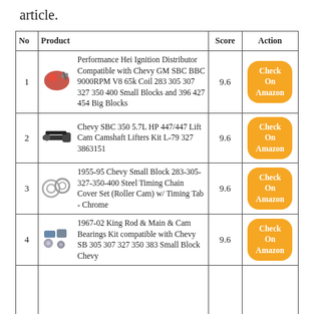article.
| No | Product | Score | Action |
| --- | --- | --- | --- |
| 1 | Performance Hei Ignition Distributor Compatible with Chevy GM SBC BBC 9000RPM V8 65k Coil 283 305 307 327 350 400 Small Blocks and 396 427 454 Big Blocks | 9.6 | Check On Amazon |
| 2 | Chevy SBC 350 5.7L HP 447/447 Lift Cam Camshaft Lifters Kit L-79 327 3863151 | 9.6 | Check On Amazon |
| 3 | 1955-95 Chevy Small Block 283-305-327-350-400 Steel Timing Chain Cover Set (Roller Cam) w/ Timing Tab - Chrome | 9.6 | Check On Amazon |
| 4 | 1967-02 King Rod & Main & Cam Bearings Kit compatible with Chevy SB 305 307 327 350 383 Small Block Chevy | 9.6 | Check On Amazon |